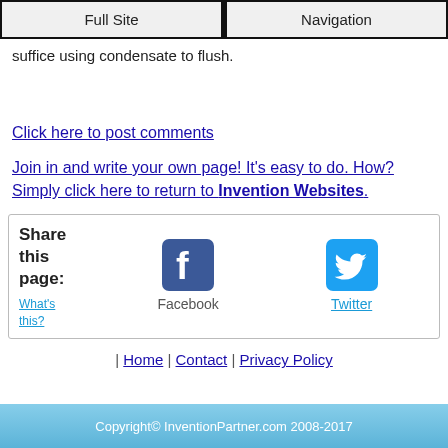Full Site | Navigation
suffice using condensate to flush.
Click here to post comments
Join in and write your own page! It's easy to do. How? Simply click here to return to Invention Websites.
Share this page: What's this? Facebook Twitter
| Home | Contact | Privacy Policy
Copyright© InventionPartner.com 2008-2017